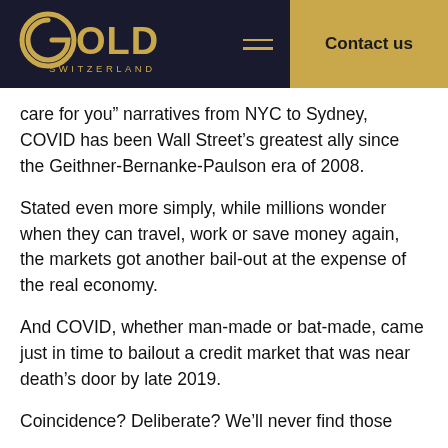Gold Switzerland — Contact us
care for you” narratives from NYC to Sydney, COVID has been Wall Street’s greatest ally since the Geithner-Bernanke-Paulson era of 2008.
Stated even more simply, while millions wonder when they can travel, work or save money again, the markets got another bail-out at the expense of the real economy.
And COVID, whether man-made or bat-made, came just in time to bailout a credit market that was near death’s door by late 2019.
Coincidence? Deliberate? We’ll never find those